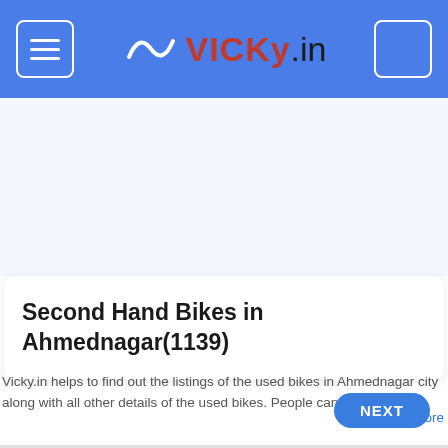vicky.in
Second Hand Bikes in Ahmednagar(1139)
Vicky.in helps to find out the listings of the used bikes in Ahmednagar city along with all other details of the used bikes. People can be able t…
+ Read More